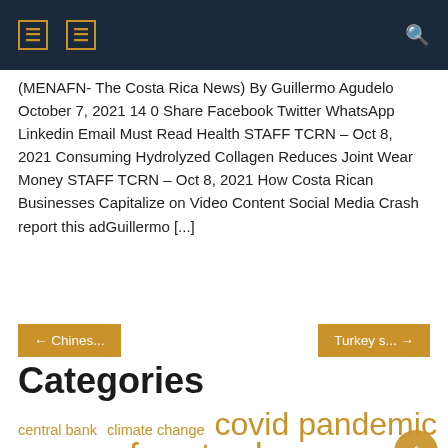navigation header bar with icons and search
(MENAFN- The Costa Rica News) By Guillermo Agudelo October 7, 2021 14 0 Share Facebook Twitter WhatsApp Linkedin Email Must Read Health STAFF TCRN – Oct 8, 2021 Consuming Hydrolyzed Collagen Reduces Joint Wear Money STAFF TCRN – Oct 8, 2021 How Costa Rican Businesses Capitalize on Video Content Social Media Crash report this adGuillermo [...]
← Chines...
Turkey s... →
Categories
central bank
climate change
covid pandemic
european union
free trade
free zones
interest rates
joe biden
long term
prime minister
real estate
short term